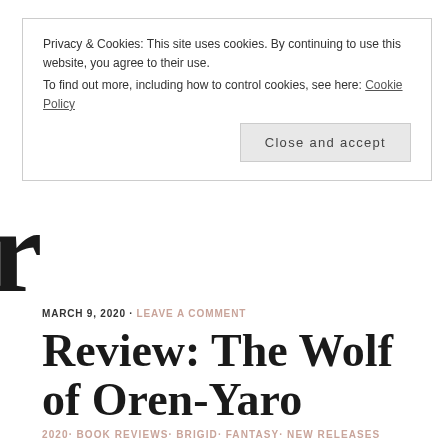Privacy & Cookies: This site uses cookies. By continuing to use this website, you agree to their use.
To find out more, including how to control cookies, see here: Cookie Policy
Close and accept
MARCH 9, 2020 · LEAVE A COMMENT
Review: The Wolf of Oren-Yaro
2020· BOOK REVIEWS· BRIGID· FANTASY· NEW RELEASES